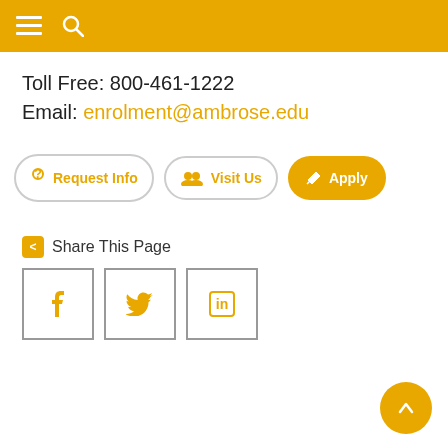Navigation bar with menu and search icons
Toll Free: 800-461-1222
Email: enrolment@ambrose.edu
? Request Info
Visit Us
Apply
Share This Page
Facebook, Twitter, LinkedIn social icons